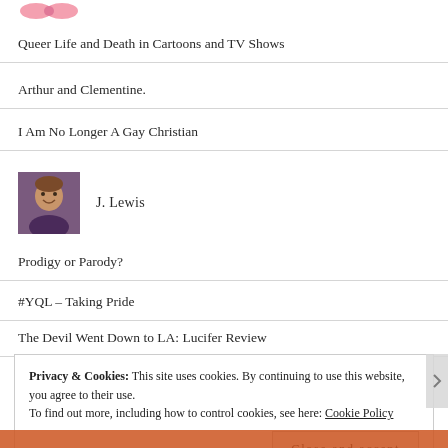[Figure (illustration): Pink bow/ribbon image thumbnail at top]
Queer Life and Death in Cartoons and TV Shows
Arthur and Clementine.
I Am No Longer A Gay Christian
[Figure (photo): Profile photo of J. Lewis, a woman with brown hair smiling, wearing a purple jacket]
J. Lewis
Prodigy or Parody?
#YQL – Taking Pride
The Devil Went Down to LA: Lucifer Review
Privacy & Cookies: This site uses cookies. By continuing to use this website, you agree to their use.
To find out more, including how to control cookies, see here: Cookie Policy
Close and accept